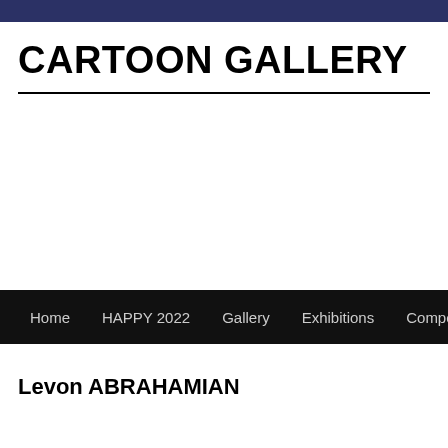CARTOON GALLERY
Home  HAPPY 2022  Gallery  Exhibitions  Competitions  Ne...
Levon ABRAHAMIAN